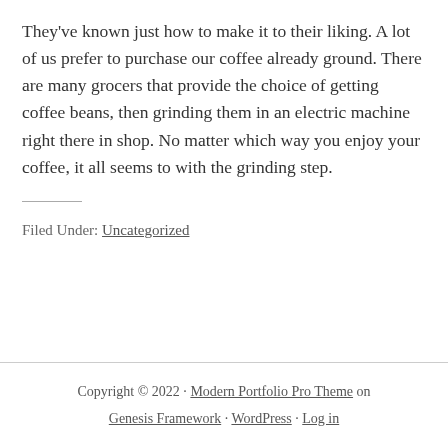They've known just how to make it to their liking. A lot of us prefer to purchase our coffee already ground. There are many grocers that provide the choice of getting coffee beans, then grinding them in an electric machine right there in shop. No matter which way you enjoy your coffee, it all seems to with the grinding step.
Filed Under: Uncategorized
Copyright © 2022 · Modern Portfolio Pro Theme on Genesis Framework · WordPress · Log in